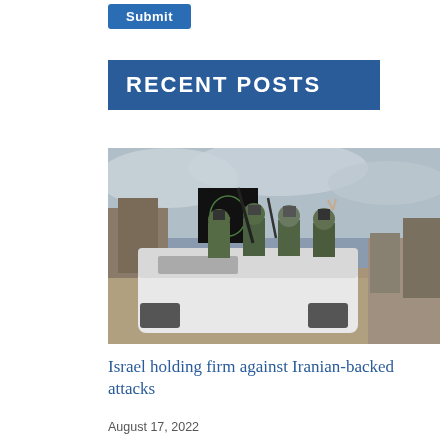[Figure (screenshot): A blue 'Submit' button UI element at the top of the page]
RECENT POSTS
[Figure (photo): Armed militants in camouflage uniforms riding on top of a white vehicle, holding weapons and making hand gestures, with a black flag visible in the background under an overcast sky]
Israel holding firm against Iranian-backed attacks
August 17, 2022